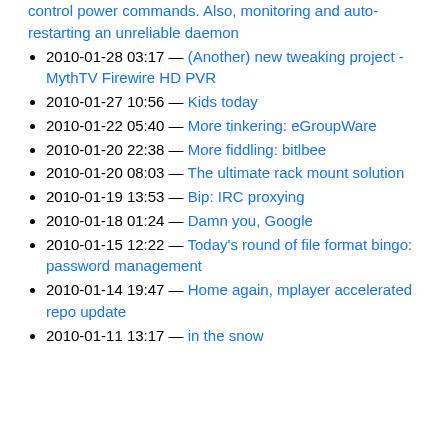control power commands. Also, monitoring and auto-restarting an unreliable daemon
2010-01-28 03:17 — (Another) new tweaking project - MythTV Firewire HD PVR
2010-01-27 10:56 — Kids today
2010-01-22 05:40 — More tinkering: eGroupWare
2010-01-20 22:38 — More fiddling: bitlbee
2010-01-20 08:03 — The ultimate rack mount solution
2010-01-19 13:53 — Bip: IRC proxying
2010-01-18 01:24 — Damn you, Google
2010-01-15 12:22 — Today's round of file format bingo: password management
2010-01-14 19:47 — Home again, mplayer accelerated repo update
2010-01-11 13:17 — in the snow